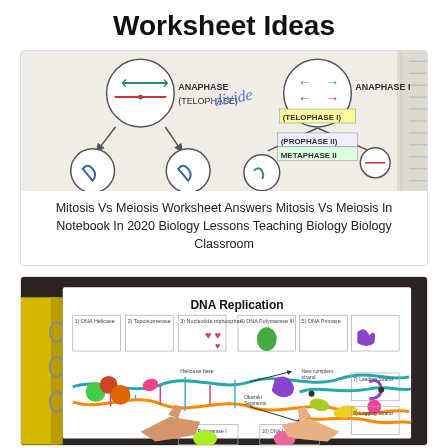Worksheet Ideas
[Figure (illustration): Hand-drawn notebook diagram comparing Mitosis and Meiosis phases with labeled circles showing chromosomes at Anaphase, Telophase, Anaphase I, Telophase I, Prophase II, and Metaphase II stages, with the word 'divide' written in cursive in the center]
Mitosis Vs Meiosis Worksheet Answers Mitosis Vs Meiosis In Notebook In 2020 Biology Lessons Teaching Biology Biology Classroom
[Figure (photo): Photo of hands pointing at a DNA Replication worksheet in a binder, showing a detailed colorful diagram of DNA replication with labeled sections and illustrations of enzymes and DNA strands]